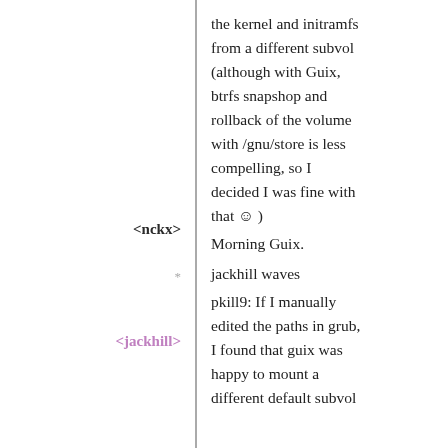the kernel and initramfs from a different subvol (although with Guix, btrfs snapshop and rollback of the volume with /gnu/store is less compelling, so I decided I was fine with that ☺ )
<nckx>  Morning Guix.
*  jackhill waves
<jackhill>  pkill9: If I manually edited the paths in grub, I found that guix was happy to mount a different default subvol